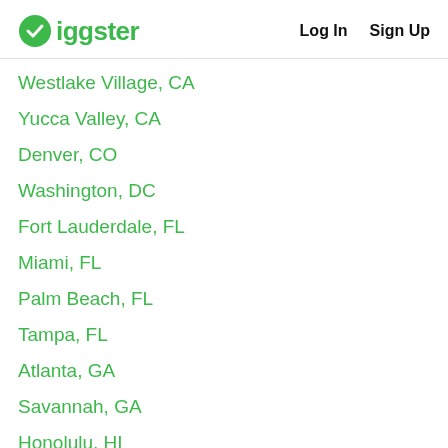Giggster   Log In   Sign Up
Westlake Village, CA
Yucca Valley, CA
Denver, CO
Washington, DC
Fort Lauderdale, FL
Miami, FL
Palm Beach, FL
Tampa, FL
Atlanta, GA
Savannah, GA
Honolulu, HI
Chicago, IL
New Orleans, LA